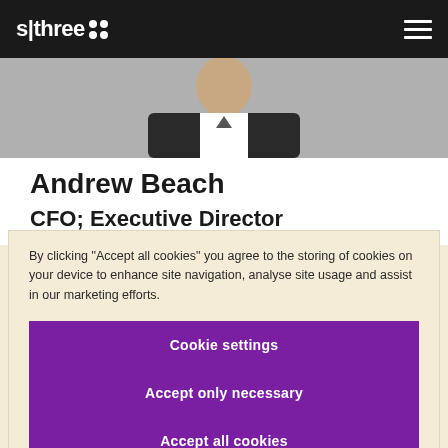s|three
[Figure (photo): Partial photo of Andrew Beach, showing top of head/shoulders against grey background]
Andrew Beach
CFO; Executive Director
By clicking “Accept all cookies” you agree to the storing of cookies on your device to enhance site navigation, analyse site usage and assist in our marketing efforts.
Cookie settings
Accept only necessary
Accept all cookies